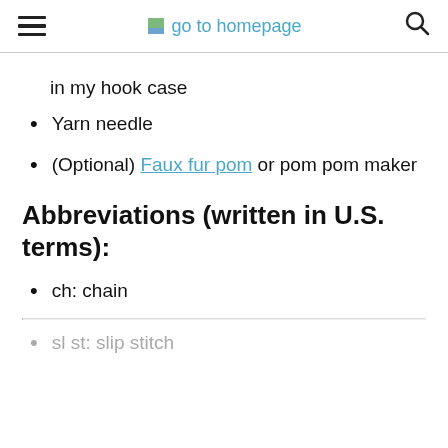go to homepage
in my hook case
Yarn needle
(Optional) Faux fur pom or pom pom maker
Abbreviations (written in U.S. terms):
ch: chain
sl st: slip stitch